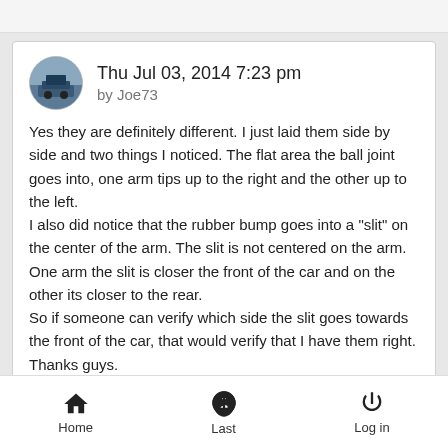Thu Jul 03, 2014 7:23 pm
by Joe73
Yes they are definitely different. I just laid them side by side and two things I noticed. The flat area the ball joint goes into, one arm tips up to the right and the other up to the left.
I also did notice that the rubber bump goes into a "slit" on the center of the arm. The slit is not centered on the arm. One arm the slit is closer the front of the car and on the other its closer to the rear.
So if someone can verify which side the slit goes towards the front of the car, that would verify that I have them right.
Thanks guys.
Home   Last   Log in